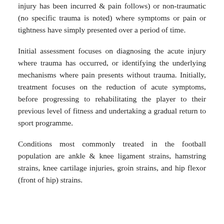injury has been incurred & pain follows) or non-traumatic (no specific trauma is noted) where symptoms or pain or tightness have simply presented over a period of time.
Initial assessment focuses on diagnosing the acute injury where trauma has occurred, or identifying the underlying mechanisms where pain presents without trauma. Initially, treatment focuses on the reduction of acute symptoms, before progressing to rehabilitating the player to their previous level of fitness and undertaking a gradual return to sport programme.
Conditions most commonly treated in the football population are ankle & knee ligament strains, hamstring strains, knee cartilage injuries, groin strains, and hip flexor (front of hip) strains.